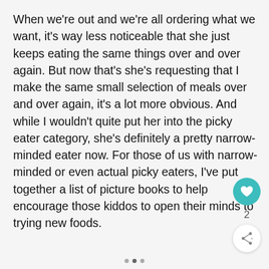When we're out and we're all ordering what we want, it's way less noticeable that she just keeps eating the same things over and over again. But now that's she's requesting that I make the same small selection of meals over and over again, it's a lot more obvious. And while I wouldn't quite put her into the picky eater category, she's definitely a pretty narrow-minded eater now. For those of us with narrow-minded or even actual picky eaters, I've put together a list of picture books to help encourage those kiddos to open their minds to trying new foods.
[Figure (infographic): UI interaction buttons: a teal heart/like button, a count of 2, and a share button with a share icon. Below the content area are three pagination dots.]